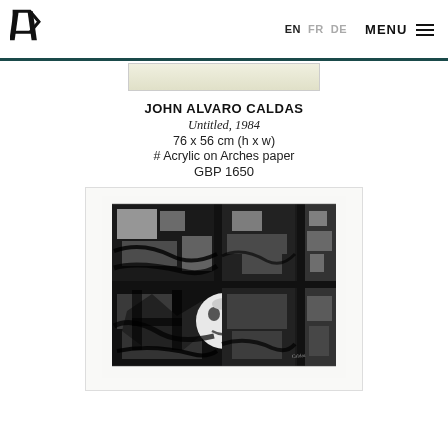EN FR DE MENU
[Figure (photo): Partial top view of an artwork on paper with yellowish-green color, shown mounted on white backing]
JOHN ALVARO CALDAS
Untitled, 1984
76 x 56 cm (h x w)
# Acrylic on Arches paper
GBP 1650
[Figure (photo): Black and white abstract artwork by John Alvaro Caldas titled Untitled, 1984. Acrylic on Arches paper, showing bold black brushstrokes forming geometric and figurative shapes arranged in a grid-like composition, with a face-like form visible in the lower center. Signed in the lower right corner.]